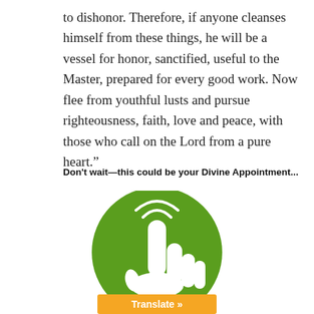to dishonor. Therefore, if anyone cleanses himself from these things, he will be a vessel for honor, sanctified, useful to the Master, prepared for every good work. Now flee from youthful lusts and pursue righteousness, faith, love and peace, with those who call on the Lord from a pure heart.”
Don’t wait—this could be your Divine Appointment...
[Figure (illustration): Green circle with white hand/finger pointing upward icon, and an orange button at the bottom labeled 'Translate »']